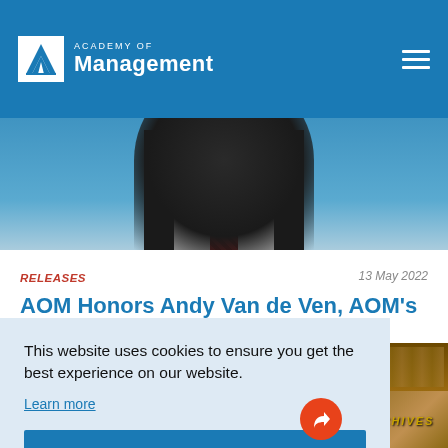Academy of Management
[Figure (photo): Partial photo of a man in a suit with a red tie, shown from chest up, behind the navigation bar]
RELEASES
13 May 2022
AOM Honors Andy Van de Ven, AOM’s 56th President
This website uses cookies to ensure you get the best experience on our website.
Learn more
Got it!
[Figure (photo): Bottom right corner shows partial image of what appears to be old documents or books with the word ARCHIVES visible]